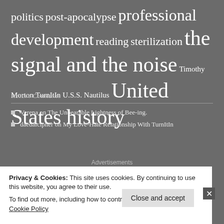politics post-apocalypse professional development reading sterilization the signal and the noise Timothy Morton TurnItIn U.S.S. Nautilus United States history
Recent Comments
Verena on The Unbearable Lightness of Bee-ing.
daedalcipher on My Love-Hate Relationship With TurnItIn
Advertisements
[Figure (other): Advertisement box with dark navy background and white bold text reading 'Create surveys, polls']
Privacy & Cookies: This site uses cookies. By continuing to use this website, you agree to their use. To find out more, including how to control cookies, see here: Cookie Policy